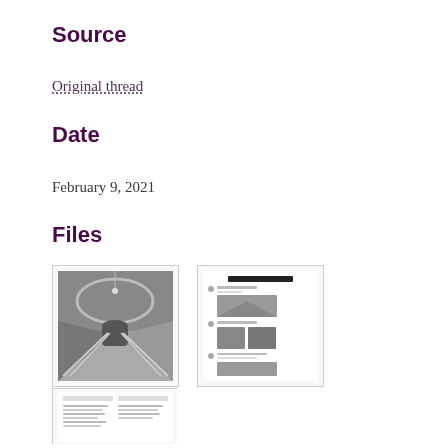Source
Original thread
Date
February 9, 2021
Files
[Figure (photo): Black and white photograph of an ornate interior staircase with arched ceiling]
[Figure (screenshot): Screenshot of a social media thread with text and embedded images]
[Figure (screenshot): Screenshot of a document or webpage with text content]